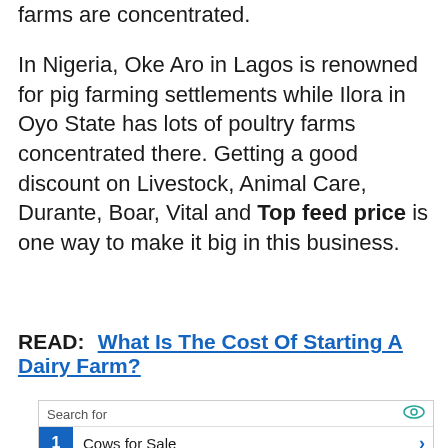farms are concentrated.
In Nigeria, Oke Aro in Lagos is renowned for pig farming settlements while Ilora in Oyo State has lots of poultry farms concentrated there. Getting a good discount on Livestock, Animal Care, Durante, Boar, Vital and Top feed price is one way to make it big in this business.
READ:   What Is The Cost Of Starting A Dairy Farm?
| 1 | Cows for Sale | › |
| 2 | List of Businesses | › |